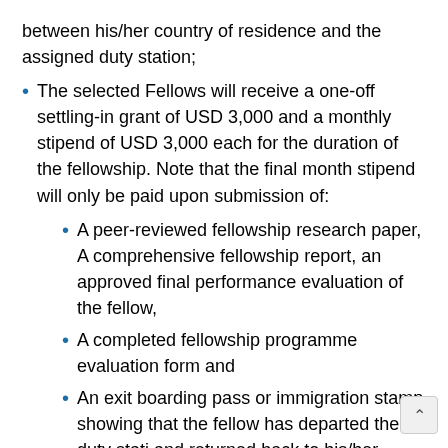between his/her country of residence and the assigned duty station;
The selected Fellows will receive a one-off settling-in grant of USD 3,000 and a monthly stipend of USD 3,000 each for the duration of the fellowship. Note that the final month stipend will only be paid upon submission of:
A peer-reviewed fellowship research paper, A comprehensive fellowship report, an approved final performance evaluation of the fellow,
A completed fellowship programme evaluation form and
An exit boarding pass or immigration stamp showing that the fellow has departed the duty station and returned back to his/her home country, where